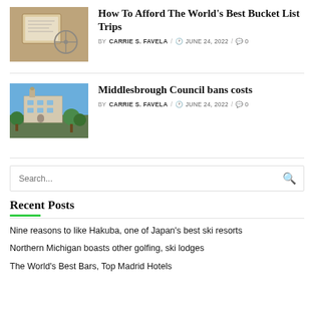How To Afford The World's Best Bucket List Trips
BY CARRIE S. FAVELA / JUNE 24, 2022 / 0
[Figure (photo): Notebook and compass on wooden surface – travel planning theme]
Middlesbrough Council bans costs
BY CARRIE S. FAVELA / JUNE 24, 2022 / 0
[Figure (photo): Middlesbrough Town Hall building with trees under blue sky]
Search...
Recent Posts
Nine reasons to like Hakuba, one of Japan's best ski resorts
Northern Michigan boasts other golfing, ski lodges
The World's Best Bars, Top Madrid Hotels